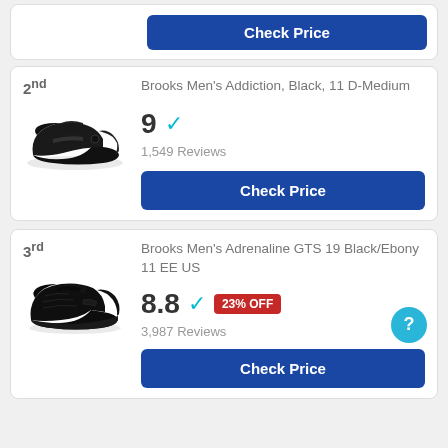[Figure (other): Top partial card with Check Price button (cropped from previous item)]
2nd
[Figure (photo): Black Brooks Men's Addiction walking shoe, side view]
Brooks Men's Addiction, Black, 11 D-Medium
9 ✓
1,549 Reviews
Check Price
3rd
[Figure (photo): Black Brooks Men's Adrenaline GTS 19 running shoe, side view]
Brooks Men's Adrenaline GTS 19 Black/Ebony 11 EE US
8.8 ✓ 23% OFF
3,987 Reviews
Check Price